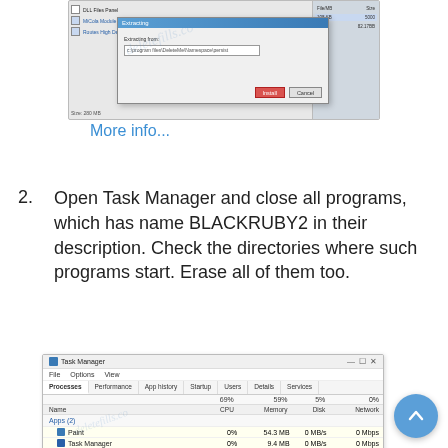[Figure (screenshot): Windows dialog box showing an uninstall/extraction dialog with a path field, an Install button and Cancel button, alongside a file list panel on the right showing file names and sizes.]
More info...
Open Task Manager and close all programs, which has name BLACKRUBY2 in their description. Check the directories where such programs start. Erase all of them too.
[Figure (screenshot): Windows Task Manager window showing Processes tab with Apps (2): Paint (0%, 54.3 MB, 0 MB/s, 0 Mbps) and Task Manager (0%, 9.4 MB, 0 MB/s, 0 Mbps), and Background processes (27): Application Frame Host (0%, 3.2 MB, 0 MB/s, 0 Mbps), COM Surrogate (0%, 1.5 MB, 0 MB/s, 0 Mbps), Cortana (0%, 0.1 MB, 0 MB/s, 0 Mbps). CPU 69%, Memory 59%, Disk 5%, Network 0%.]